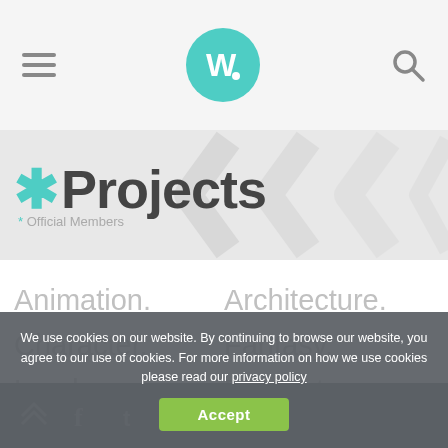Navigation header with hamburger menu, W logo, and search icon
* Projects • Official Members
Animation.
Architecture.
Character.
Fantasy.
Landscape.
Product.
Vehicle.
We use cookies on our website. By continuing to browse our website, you agree to our use of cookies. For more information on how we use cookies please read our privacy policy
Accept